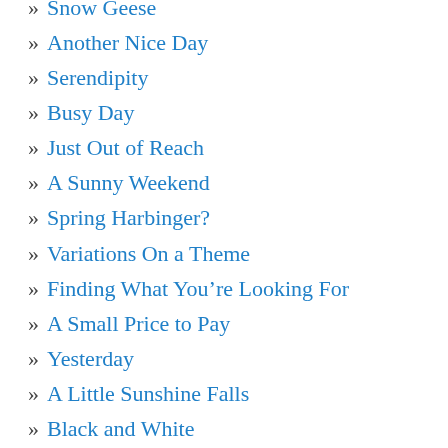» Snow Geese
» Another Nice Day
» Serendipity
» Busy Day
» Just Out of Reach
» A Sunny Weekend
» Spring Harbinger?
» Variations On a Theme
» Finding What You're Looking For
» A Small Price to Pay
» Yesterday
» A Little Sunshine Falls
» Black and White
» Back to Our Regularly Scheduled Program
» A Little Sunshine